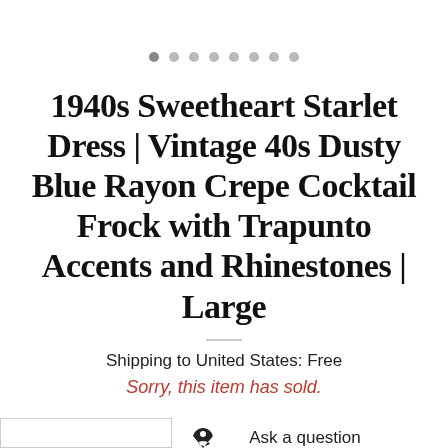[Figure (other): Image carousel dot navigation with 8 dots, first dot active/filled]
1940s Sweetheart Starlet Dress | Vintage 40s Dusty Blue Rayon Crepe Cocktail Frock with Trapunto Accents and Rhinestones | Large
Shipping to United States: Free
Sorry, this item has sold.
Ask a question